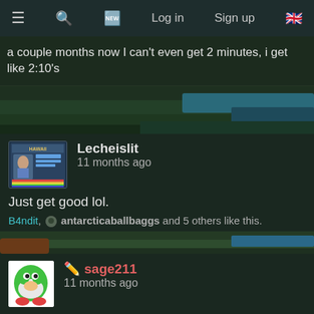≡  🔍  🎬  Log in  Sign up  🇬🇧
a couple months now I can't even get 2 minutes, i get like 2:10's
[Figure (screenshot): Game screenshot background (dark green/blue landscape)]
Lecheislit
11 months ago
Just get good lol.
B4ndit, antarcticaballbaggs and 5 others like this.
[Figure (screenshot): Game screenshot mid-section divider]
✏ sage211
11 months ago
Just get good lol.
B4ndit, QuinnSpeed and 4 others like this.
[Figure (screenshot): Game screenshot bottom divider]
🎮 QuinnSpeed
11 months ago